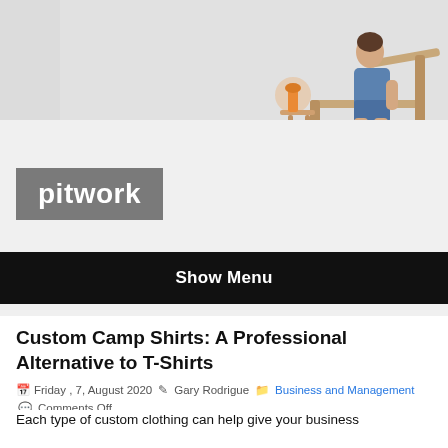[Figure (photo): Banner image of a woman in a blue outfit reclining on a lounge chair in what appears to be a spa or salt room setting, with a warm lamp and light-colored walls in the background.]
pitwork
Show Menu
Custom Camp Shirts: A Professional Alternative to T-Shirts
Friday , 7, August 2020   Gary Rodrigue   Business and Management   Comments Off
Each type of custom clothing can help give your business